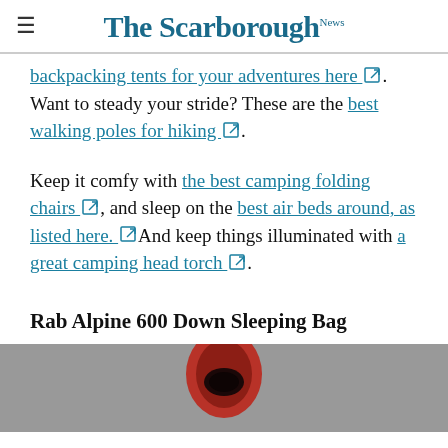The Scarborough News
backpacking tents for your adventures here. Want to steady your stride? These are the best walking poles for hiking.
Keep it comfy with the best camping folding chairs, and sleep on the best air beds around, as listed here. And keep things illuminated with a great camping head torch.
Rab Alpine 600 Down Sleeping Bag
[Figure (photo): Top of a red sleeping bag shown against a grey background]